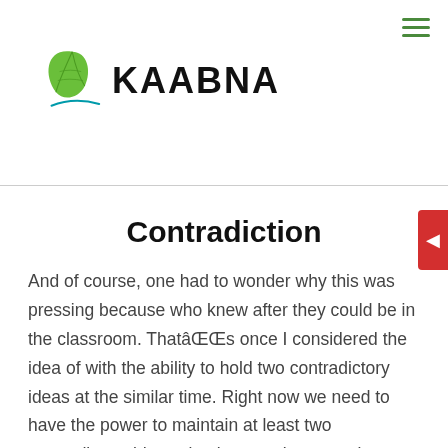KAABNA
Contradiction
And of course, one had to wonder why this was pressing because who knew after they could be in the classroom. Thatâs once I considered the idea of with the ability to hold two contradictory ideas at the similar time. Right now we need to have the power to maintain at least two contradictory ideas simultaneously, or maybe observe Alice down the rabbit gap into the realm of this weekâs quote. It